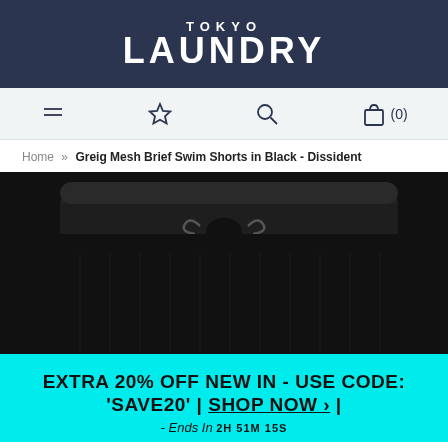TOKYO LAUNDRY
[Figure (screenshot): Navigation bar with hamburger menu, star/wishlist icon, search icon, and shopping bag icon with (0) count]
Home » Greig Mesh Brief Swim Shorts in Black - Dissident
[Figure (photo): Close-up photo of black mesh brief swim shorts showing waistband and drawstring tie against a dark background]
EXTRA 20% OFF NEW IN - USE CODE: 'SAVE20' | SHOP NOW > | - Ends In 2H 51M 15S